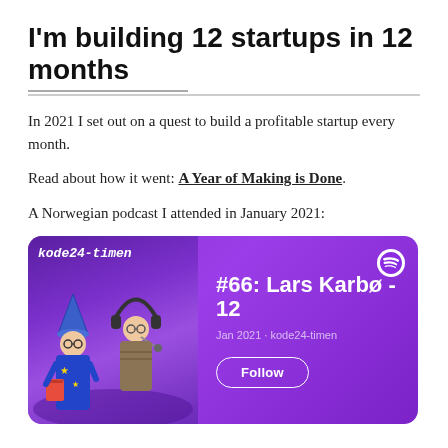I'm building 12 startups in 12 months
In 2021 I set out on a quest to build a profitable startup every month.
Read about how it went: A Year of Making is Done.
A Norwegian podcast I attended in January 2021:
[Figure (screenshot): Spotify podcast card for kode24-timen episode #66: Lars Karbø - 12, Jan 2021, with Follow button and two people in the thumbnail image.]